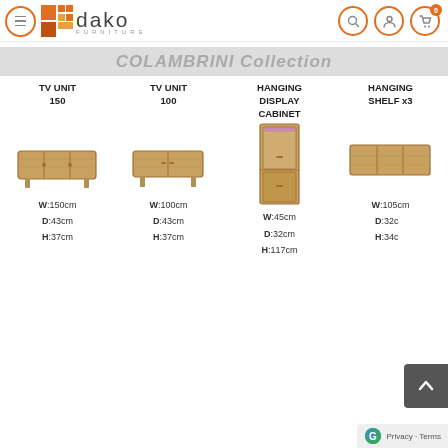Dako Furniture — COLAMBRINI Collection
COLAMBRINI Collection
TV UNIT 150  W:150cm  D:43cm  H:37cm
TV UNIT 100  W:100cm  D:43cm  H:37cm
HANGING DISPLAY CABINET  W:45cm  D:32cm  H:117cm
HANGING SHELF x3  W:105cm  D:32cm  H:34cm